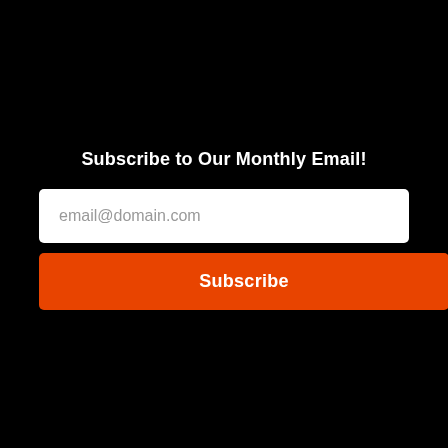Subscribe to Our Monthly Email!
email@domain.com
Subscribe